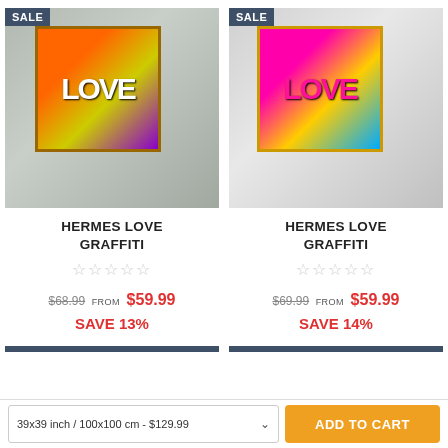[Figure (photo): Hermes Love Graffiti artwork (orange/yellow variant) displayed in a modern living room interior. SALE badge in top left corner.]
[Figure (photo): Hermes Love Graffiti artwork (pink/magenta variant) displayed in a modern living room interior. SALE badge in top left corner.]
HERMES LOVE GRAFFITI
☆☆☆☆☆
$68.99 FROM $59.99 SAVE 13%
HERMES LOVE GRAFFITI
☆☆☆☆☆
$69.99 FROM $59.99 SAVE 14%
39x39 inch / 100x100 cm - $129.99
ADD TO CART